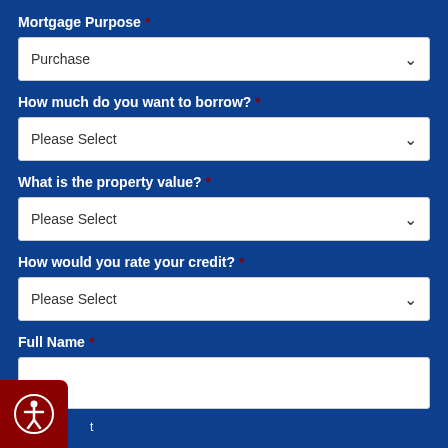Mortgage Purpose *
Purchase
How much do you want to borrow? *
Please Select
What is the property value? *
Please Select
How would you rate your credit? *
Please Select
Full Name *